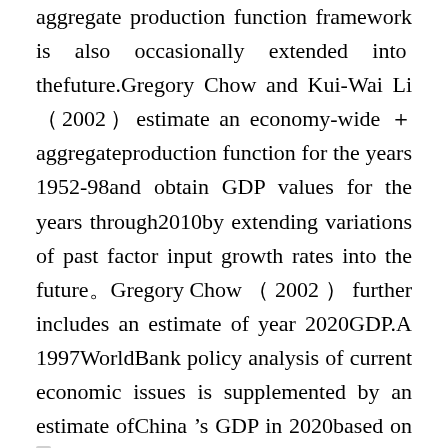aggregate production function framework is also occasionally extended into thefuture.Gregory Chow and Kui-Wai Li （2002）estimate an economy-wide ＋aggregateproduction function for the years 1952-98and obtain GDP values for the years through2010by extending variations of past factor input growth rates into the future．Gregory Chow （ 2002 ） further includes an estimate of year 2020GDP.A 1997WorldBank policy analysis of current economic issues is supplemented by an estimate ofChina 's GDP in 2020based on a closed-economy model.A systematic study of futureeconomic growth in China that relies as much as possible on hard facts already